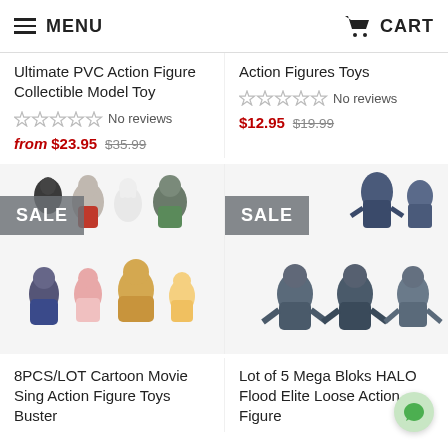MENU | CART
Ultimate PVC Action Figure Collectible Model Toy
☆☆☆☆☆ No reviews
from $23.95  $35.99
Action Figures Toys
☆☆☆☆☆ No reviews
$12.95  $19.99
[Figure (photo): 8PCS/LOT Cartoon Movie Sing action figures with SALE badge. Multiple cartoon animal characters including elephant, rabbit, gorilla, pig, bear.]
[Figure (photo): Lot of 5 Mega Bloks HALO Flood Elite Loose Action Figure with SALE badge. Blue/grey alien monster figures.]
8PCS/LOT Cartoon Movie Sing Action Figure Toys Buster
Lot of 5 Mega Bloks HALO Flood Elite Loose Action Figure